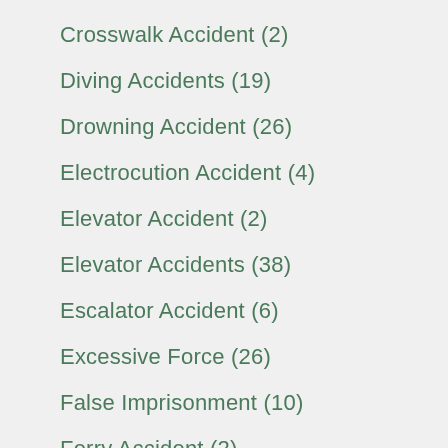Crosswalk Accident (2)
Diving Accidents (19)
Drowning Accident (26)
Electrocution Accident (4)
Elevator Accident (2)
Elevator Accidents (38)
Escalator Accident (6)
Excessive Force (26)
False Imprisonment (10)
Ferry Accident (2)